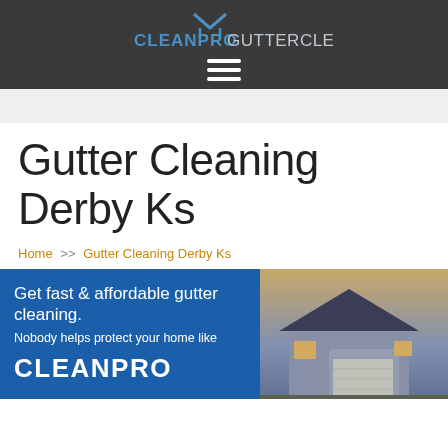CLEANPRO GUTTER CLEANING
Gutter Cleaning Derby Ks
Home >> Gutter Cleaning Derby Ks
[Figure (infographic): Banner with blue left panel reading 'Get fast & affordable gutter cleaning. Nobody helps protect your home like CLEANPRO' and right panel showing a photo of a house at dusk.]